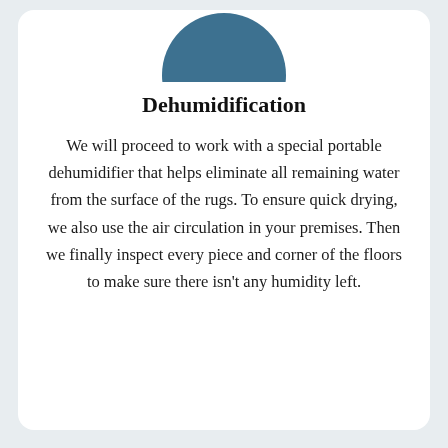[Figure (illustration): A dark teal/blue circle icon with a dehumidifier symbol, partially cropped at the top of the card]
Dehumidification
We will proceed to work with a special portable dehumidifier that helps eliminate all remaining water from the surface of the rugs. To ensure quick drying, we also use the air circulation in your premises. Then we finally inspect every piece and corner of the floors to make sure there isn’t any humidity left.